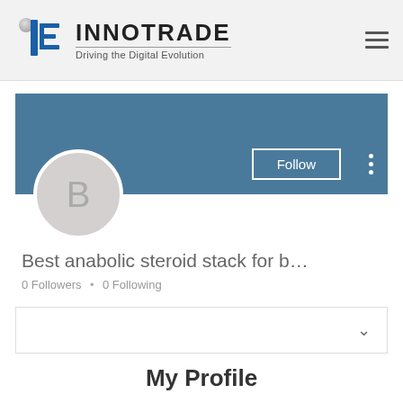INNOTRADE — Driving the Digital Evolution
[Figure (screenshot): Innotrade logo with stylized 'ie' letters and globe, followed by brand name INNOTRADE and tagline Driving the Digital Evolution]
[Figure (screenshot): User profile banner with teal/slate blue background, circular avatar with letter B, Follow button, and vertical dots menu]
Best anabolic steroid stack for b…
0 Followers • 0 Following
My Profile